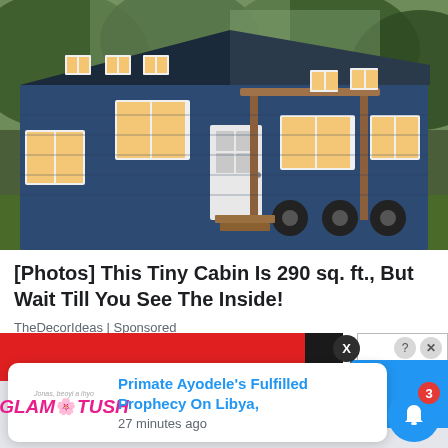[Figure (photo): A blue tiny cabin/house on wheels with white-trimmed windows, a white front door, wooden pergola entrance, parked on grass with trees in the background.]
[Photos] This Tiny Cabin Is 290 sq. ft., But Wait Till You See The Inside!
TheDecorIdeas | Sponsored
[Figure (screenshot): A browser notification popup from GLAMTUSH showing 'Primate Ayodele's Fulfilled Prophecy On Libya, 27 minutes ago', overlaying a partial Murder mystery ad banner with a close button and notification bell with badge showing 3.]